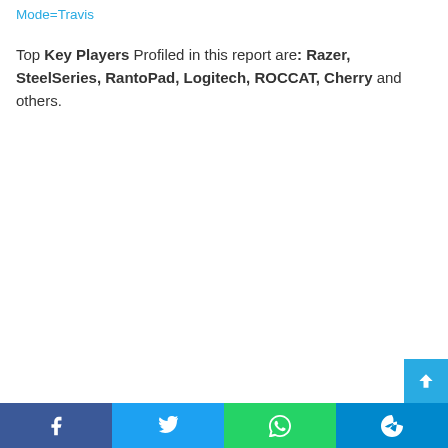Mode=Travis
Top Key Players Profiled in this report are: Razer, SteelSeries, RantoPad, Logitech, ROCCAT, Cherry and others.